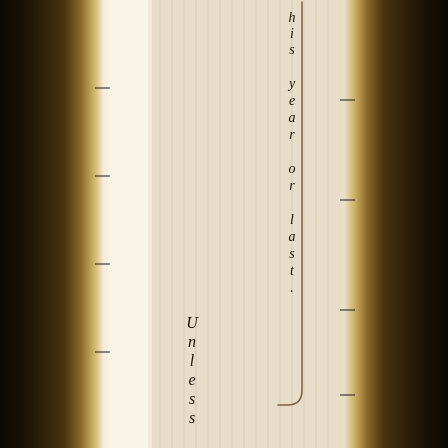[Figure (other): A scanned book page showing vertical lined paper with dark wood-grain binding edges on left and right. Italic text runs vertically reading 'this year or last.' followed below by 'Unless' written in vertical stacked letters on the lined page background.]
this year or last.
Unless